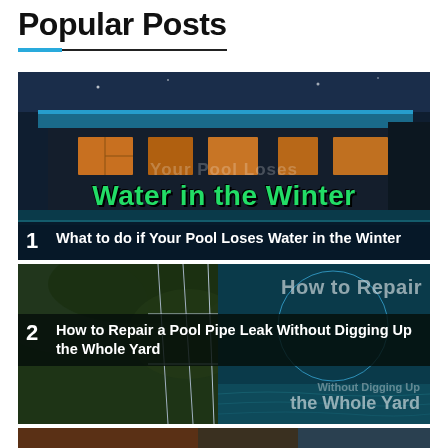Popular Posts
[Figure (photo): Photo of a modern house at night with pool lighting, overlaid with large decorative text 'What to do if Your Pool Loses Water in the Winter' in green and white.]
1  What to do if Your Pool Loses Water in the Winter
[Figure (photo): Photo of a pool with metal railings and green foliage in background, with blue circle graphic and overlay text 'How to Repair a Pool Pipe Leak Without Digging Up the Whole Yard'.]
2  How to Repair a Pool Pipe Leak Without Digging Up the Whole Yard
[Figure (photo): Partial bottom strip of a third post image, cropped.]